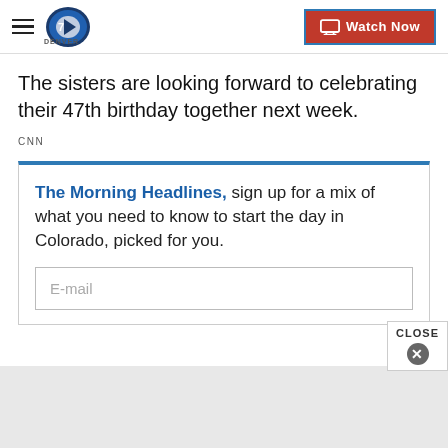Denver7 — Watch Now
The sisters are looking forward to celebrating their 47th birthday together next week.
CNN
The Morning Headlines, sign up for a mix of what you need to know to start the day in Colorado, picked for you.
E-mail